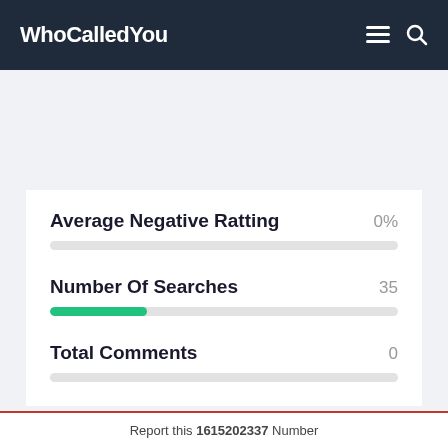WhoCalledYou
Average Negative Ratting   0%
Number Of Searches   35
Total Comments   0
Report this 1615202337 Number